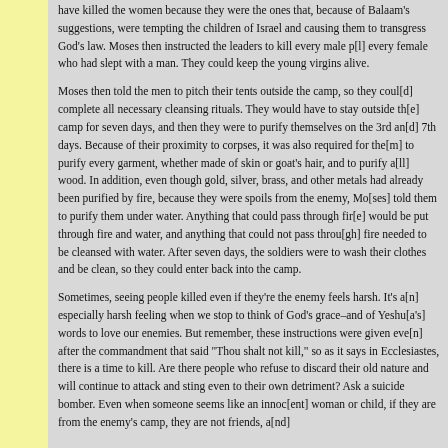have killed the women because they were the ones that, because of Balaam's suggestions, were tempting the children of Israel and causing them to transgress God's law. Moses then instructed the leaders to kill every male p[l]... every female who had slept with a man. They could keep the young virgins alive.
Moses then told the men to pitch their tents outside the camp, so they coul[d] complete all necessary cleansing rituals. They would have to stay outside th[e] camp for seven days, and then they were to purify themselves on the 3rd an[d] 7th days. Because of their proximity to corpses, it was also required for the[m] to purify every garment, whether made of skin or goat's hair, and to purify a[ll] wood. In addition, even though gold, silver, brass, and other metals had already been purified by fire, because they were spoils from the enemy, Mo[ses] told them to purify them under water. Anything that could pass through fir[e] would be put through fire and water, and anything that could not pass throu[gh] fire needed to be cleansed with water. After seven days, the soldiers were to wash their clothes and be clean, so they could enter back into the camp.
Sometimes, seeing people killed even if they're the enemy feels harsh. It's a[n] especially harsh feeling when we stop to think of God's grace–and of Yeshu[a's] words to love our enemies. But remember, these instructions were given eve[n] after the commandment that said "Thou shalt not kill," so as it says in Ecclesiastes, there is a time to kill. Are there people who refuse to discard their old nature and will continue to attack and sting even to their own detriment? Ask a suicide bomber. Even when someone seems like an innoc[ent] woman or child, if they are from the enemy's camp, they are not friends, a[nd]...